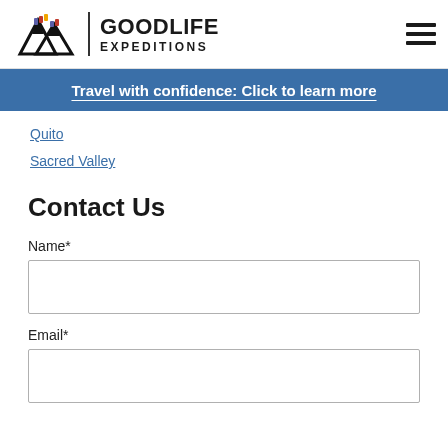GOODLIFE EXPEDITIONS
Travel with confidence: Click to learn more
Quito
Sacred Valley
Contact Us
Name*
Email*